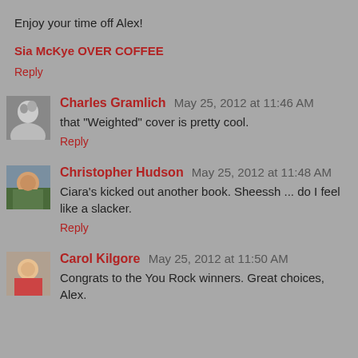Enjoy your time off Alex!
Sia McKye OVER COFFEE
Reply
Charles Gramlich May 25, 2012 at 11:46 AM
that "Weighted" cover is pretty cool.
Reply
Christopher Hudson May 25, 2012 at 11:48 AM
Ciara's kicked out another book. Sheessh ... do I feel like a slacker.
Reply
Carol Kilgore May 25, 2012 at 11:50 AM
Congrats to the You Rock winners. Great choices, Alex.